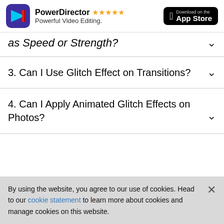[Figure (screenshot): PowerDirector app advertisement banner with app icon, star rating, tagline, and App Store download button]
as Speed or Strength?
3. Can I Use Glitch Effect on Transitions?
4. Can I Apply Animated Glitch Effects on Photos?
By using the website, you agree to our use of cookies. Head to our cookie statement to learn more about cookies and manage cookies on this website.